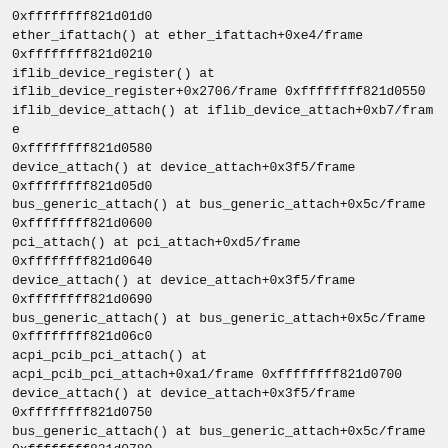0xffffffff821d01d0
ether_ifattach() at ether_ifattach+0xe4/frame 0xffffffff821d0210
iflib_device_register() at iflib_device_register+0x2706/frame 0xffffffff821d0550
iflib_device_attach() at iflib_device_attach+0xb7/frame 0xffffffff821d0580
device_attach() at device_attach+0x3f5/frame 0xffffffff821d05d0
bus_generic_attach() at bus_generic_attach+0x5c/frame 0xffffffff821d0600
pci_attach() at pci_attach+0xd5/frame 0xffffffff821d0640
device_attach() at device_attach+0x3f5/frame 0xffffffff821d0690
bus_generic_attach() at bus_generic_attach+0x5c/frame 0xffffffff821d06c0
acpi_pcib_pci_attach() at acpi_pcib_pci_attach+0xa1/frame 0xffffffff821d0700
device_attach() at device_attach+0x3f5/frame 0xffffffff821d0750
bus_generic_attach() at bus_generic_attach+0x5c/frame 0xffffffff821d0780
pci_attach() at pci_attach+0xd5/frame 0xffffffff821d07c0
device_attach() at device_attach+0x3f5/frame 0xffffffff821d0810
bus_generic_attach() at bus_generic_attach+0x5c/frame 0xffffffff821d0840
acpi_pcib_acpi_attach() at